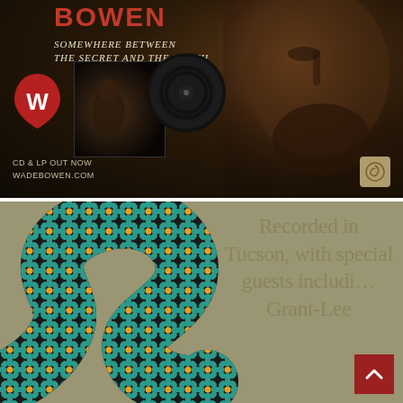[Figure (illustration): Wade Bowen album advertisement. Dark moody background with man's face in profile on right side. Text reads BOWEN, Somewhere Between The Secret And The Truth. Shows album cover and vinyl record. Red guitar pick Warner label logo with W. Bottom text: CD & LP OUT NOW WADEBOWEN.COM. Small decorative snake icon bottom right.]
[Figure (illustration): Olive/tan background with large decorative floral snake illustration (teal flowers with yellow centers, dark snake body). Text on right side reads: Recorded in Tucson, with special guests includi... Grant-Lee. Red scroll-to-top button with upward chevron in bottom right corner.]